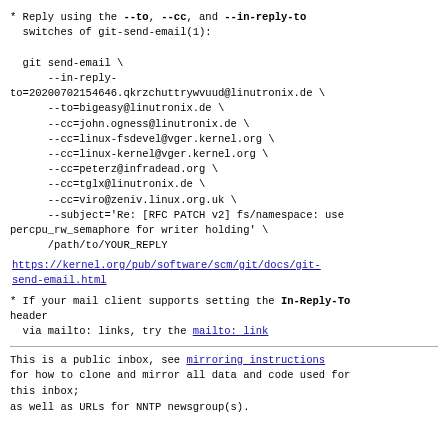* Reply using the --to, --cc, and --in-reply-to switches of git-send-email(1):

  git send-email \
      --in-reply-to=20200702154646.qkrzchuttrywvuud@linutronix.de \
      --to=bigeasy@linutronix.de \
      --cc=john.ogness@linutronix.de \
      --cc=linux-fsdevel@vger.kernel.org \
      --cc=linux-kernel@vger.kernel.org \
      --cc=peterz@infradead.org \
      --cc=tglx@linutronix.de \
      --cc=viro@zeniv.linux.org.uk \
      --subject='Re: [RFC PATCH v2] fs/namespace: use percpu_rw_semaphore for writer holding' \
      /path/to/YOUR_REPLY
https://kernel.org/pub/software/scm/git/docs/git-send-email.html
* If your mail client supports setting the In-Reply-To header
  via mailto: links, try the mailto: link
This is a public inbox, see mirroring instructions
for how to clone and mirror all data and code used for
this inbox;
as well as URLs for NNTP newsgroup(s).